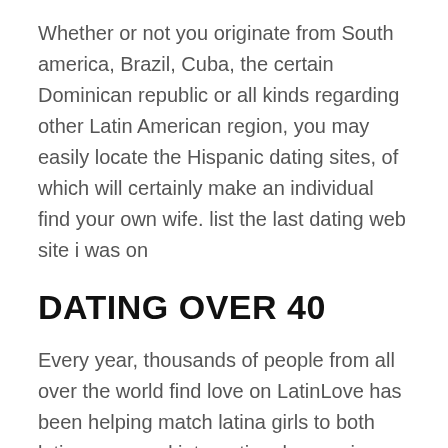Whether or not you originate from South america, Brazil, Cuba, the certain Dominican republic or all kinds regarding other Latin American region, you may easily locate the Hispanic dating sites, of which will certainly make an individual find your own wife. list the last dating web site i was on
DATING OVER 40
Every year, thousands of people from all over the world find love on LatinLove has been helping match latina girls to both latina guys and international guys since it's